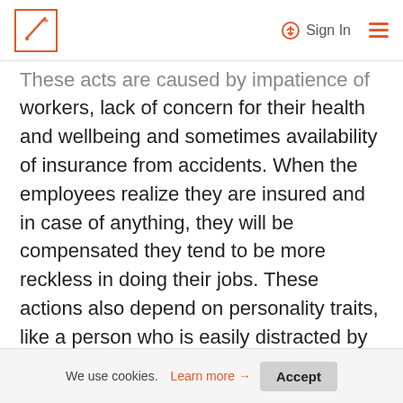Sign In
These acts are caused by impatience of the workers, lack of concern for their health and wellbeing and sometimes availability of insurance from accidents. When the employees realize they are insured and in case of anything, they will be compensated they tend to be more reckless in doing their jobs. These actions also depend on personality traits, like a person who is easily distracted by cell phones you will find they are more prone to accidents. Sometimes some people are unlucky, and they find themselves in such situations. Also, all these actions cannot be
We use cookies. Learn more → Accept